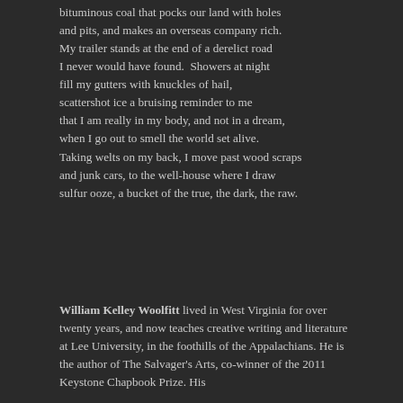bituminous coal that pocks our land with holes and pits, and makes an overseas company rich. My trailer stands at the end of a derelict road I never would have found.  Showers at night fill my gutters with knuckles of hail, scattershot ice a bruising reminder to me that I am really in my body, and not in a dream, when I go out to smell the world set alive. Taking welts on my back, I move past wood scraps and junk cars, to the well-house where I draw sulfur ooze, a bucket of the true, the dark, the raw.
William Kelley Woolfitt lived in West Virginia for over twenty years, and now teaches creative writing and literature at Lee University, in the foothills of the Appalachians. He is the author of The Salvager's Arts, co-winner of the 2011 Keystone Chapbook Prize. His